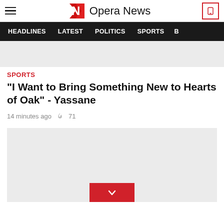Opera News
HEADLINES  LATEST  POLITICS  SPORTS  B
[Figure (photo): Gray placeholder image at top of article]
SPORTS
“I Want to Bring Something New to Hearts of Oak” - Yassane
14 minutes ago  71
[Figure (photo): Gray placeholder image below article metadata, with red chevron button at bottom center]